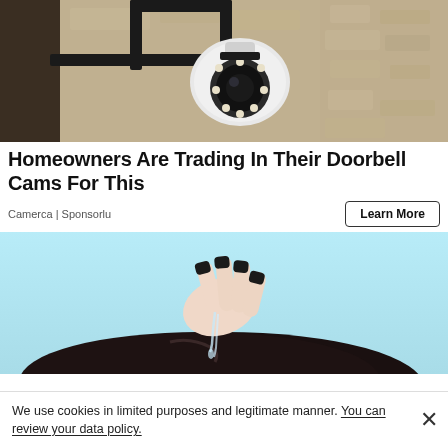[Figure (photo): Security camera mounted on a wall bracket against a textured stone/stucco wall]
Homeowners Are Trading In Their Doorbell Cams For This
Camerca | Sponsorlu
Learn More
[Figure (photo): Person with black nails applying drops of liquid serum to dark hair, light blue background]
We use cookies in limited purposes and legitimate manner. You can review your data policy.